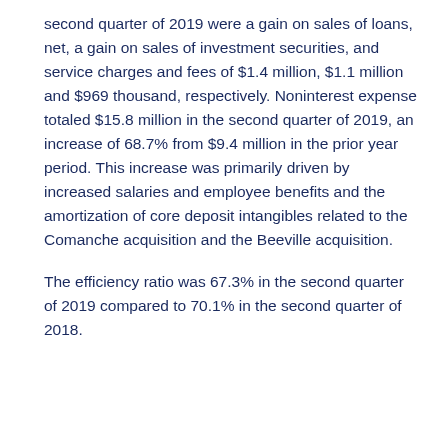second quarter of 2019 were a gain on sales of loans, net, a gain on sales of investment securities, and service charges and fees of $1.4 million, $1.1 million and $969 thousand, respectively. Noninterest expense totaled $15.8 million in the second quarter of 2019, an increase of 68.7% from $9.4 million in the prior year period. This increase was primarily driven by increased salaries and employee benefits and the amortization of core deposit intangibles related to the Comanche acquisition and the Beeville acquisition.
The efficiency ratio was 67.3% in the second quarter of 2019 compared to 70.1% in the second quarter of 2018.